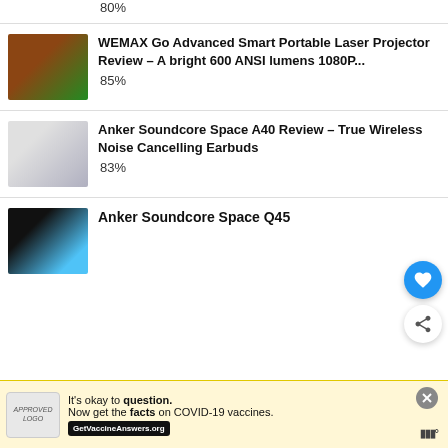80%
WEMAX Go Advanced Smart Portable Laser Projector Review – A bright 600 ANSI lumens 1080P...
85%
Anker Soundcore Space A40 Review – True Wireless Noise Cancelling Earbuds
83%
Anker Soundcore Space Q45
It's okay to question. Now get the facts on COVID-19 vaccines. GetVaccineAnswers.org